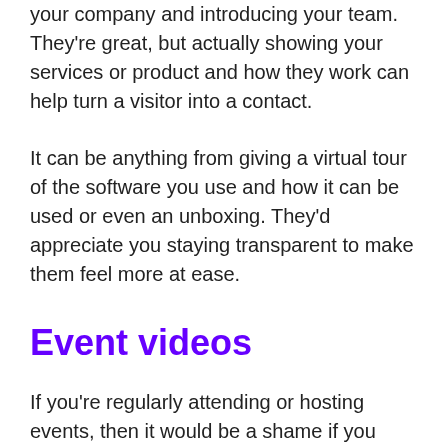your company and introducing your team. They're great, but actually showing your services or product and how they work can help turn a visitor into a contact.
It can be anything from giving a virtual tour of the software you use and how it can be used or even an unboxing. They'd appreciate you staying transparent to make them feel more at ease.
Event videos
If you're regularly attending or hosting events, then it would be a shame if you didn't record them. They're a great resource to have by placing them on your website which can be packed full of